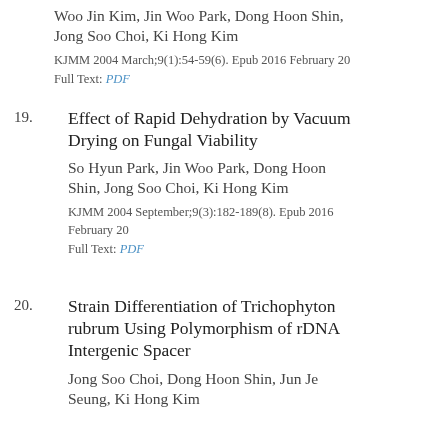Woo Jin Kim, Jin Woo Park, Dong Hoon Shin, Jong Soo Choi, Ki Hong Kim
KJMM 2004 March;9(1):54-59(6). Epub 2016 February 20
Full Text: PDF
19. Effect of Rapid Dehydration by Vacuum Drying on Fungal Viability
So Hyun Park, Jin Woo Park, Dong Hoon Shin, Jong Soo Choi, Ki Hong Kim
KJMM 2004 September;9(3):182-189(8). Epub 2016 February 20
Full Text: PDF
20. Strain Differentiation of Trichophyton rubrum Using Polymorphism of rDNA Intergenic Spacer
Jong Soo Choi, Dong Hoon Shin, Jun Je Seung, Ki Hong Kim